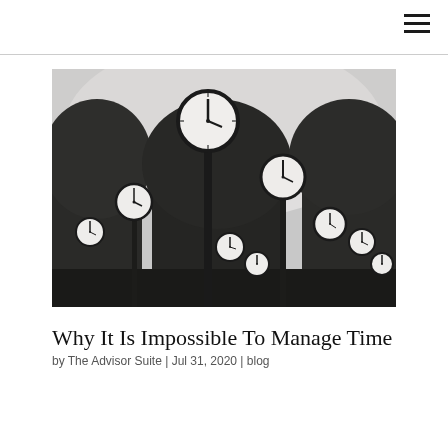[Figure (photo): Black and white photograph of multiple outdoor clocks on poles of varying heights, set against a backdrop of trees and an overcast sky.]
Why It Is Impossible To Manage Time
by The Advisor Suite | Jul 31, 2020 | blog